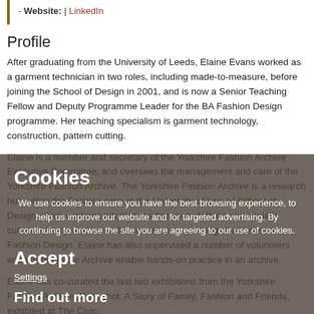- Website: | LinkedIn
Profile
After graduating from the University of Leeds, Elaine Evans worked as a garment technician in two roles, including made-to-measure, before joining the School of Design in 2001, and is now a Senior Teaching Fellow and Deputy Programme Leader for the BA Fashion Design programme. Her teaching specialism is garment technology, construction, pattern cutting.
Elaine is a member and secretary of the Yorkshire Fashion Archive Executive Committee, and oversees the management and care of the Yorkshire Fashion Archive. The Yorkshire Fashion Archive is a research hub within the Fashion area at the University of Leeds' School of Design which explores interactions between clothing and social / cultural history, and the collection informs teaching at all levels in Fashion Design. Elaine has also supervised a number of volunteers and interns in the Archive enable hands-on practice in an archive.
Elaine has co-curated the last two exhibitions from the Yorkshire Fashion Archive: Snapshot: A Story of Family, Fashion and Friends, exhibited at The Civic,
Cookies
We use cookies to ensure you have the best browsing experience, to help us improve our website and for targeted advertising. By continuing to browse the site you are agreeing to our use of cookies.
Accept
Settings
Find out more